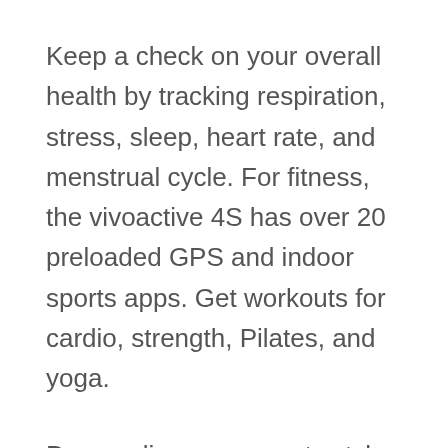Keep a check on your overall health by tracking respiration, stress, sleep, heart rate, and menstrual cycle. For fitness, the vivoactive 4S has over 20 preloaded GPS and indoor sports apps. Get workouts for cardio, strength, Pilates, and yoga.
Personalize your smartwatch by choosing from thousands of watch faces, apps, and widgets available. The battery for this model lasts 7 days in smartwatch mode and 5 hours in GPS and music mode. It comes with a charging data cable along with a bundle